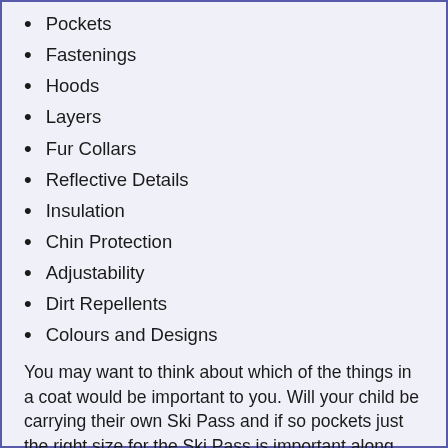Pockets
Fastenings
Hoods
Layers
Fur Collars
Reflective Details
Insulation
Chin Protection
Adjustability
Dirt Repellents
Colours and Designs
You may want to think about which of the things in a coat would be important to you. Will your child be carrying their own Ski Pass and if so pockets just the right size for the Ski Pass is important along with the rest of your ll...